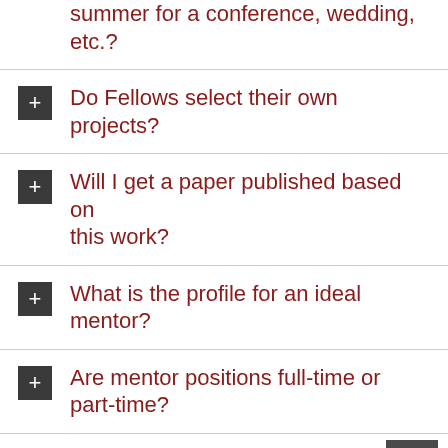summer for a conference, wedding, etc.?
Do Fellows select their own projects?
Will I get a paper published based on this work?
What is the profile for an ideal mentor?
Are mentor positions full-time or part-time?
Are mentors paid?
What is the role of mentors in the...